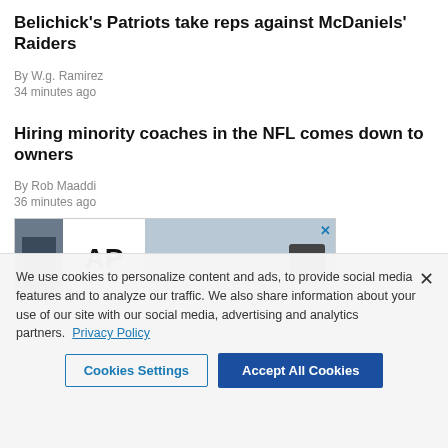Belichick's Patriots take reps against McDaniels' Raiders
By W.g. Ramirez
34 minutes ago
Hiring minority coaches in the NFL comes down to owners
By Rob Maaddi
36 minutes ago
[Figure (other): AP news advertisement banner with AP logo and camera image]
We use cookies to personalize content and ads, to provide social media features and to analyze our traffic. We also share information about your use of our site with our social media, advertising and analytics partners. Privacy Policy
Cookies Settings    Accept All Cookies